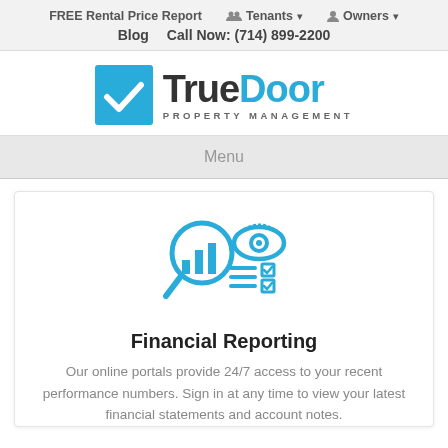FREE Rental Price Report   Tenants ▾   Owners ▾   Blog   Call Now: (714) 899-2200
[Figure (logo): TrueDoor Property Management logo: blue square with white checkmark, bold text 'TrueDoor' in dark gray and blue, 'PROPERTY MANAGEMENT' in spaced gray letters]
Menu
[Figure (illustration): Blue line-art icon showing a magnifying glass over a bar chart combined with an eye, document lines, and checkboxes]
Financial Reporting
Our online portals provide 24/7 access to your recent performance numbers. Sign in at any time to view your latest financial statements and account notes.